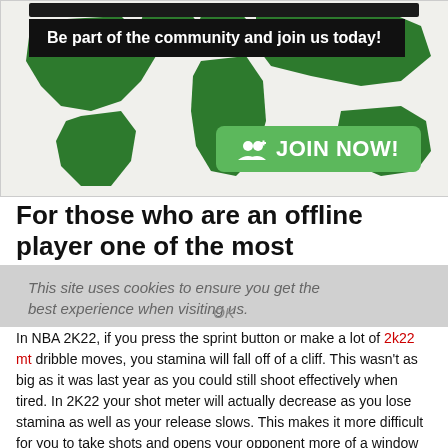[Figure (infographic): World map community banner with dark background, green continents, black overlay bar reading 'Be part of the community and join us today!' and a green 'JOIN NOW!' button]
For those who are an offline player one of the most
This site uses cookies to ensure you get the best experience when visiting us.
In NBA 2K22, if you press the sprint button or make a lot of 2k22 mt dribble moves, you stamina will fall off of a cliff. This wasn't as big as it was last year as you could still shoot effectively when tired. In 2K22 your shot meter will actually decrease as you lose stamina as well as your release slows. This makes it more difficult for you to take shots and opens your opponent more of a window to contest.